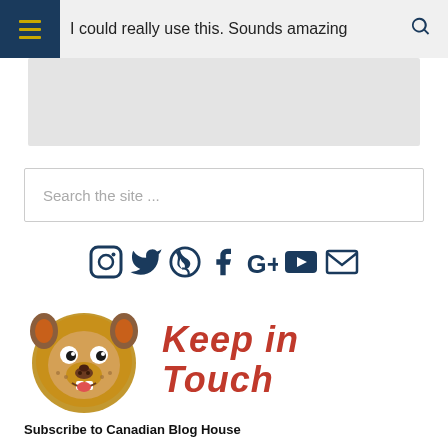I could really use this. Sounds amazing
Search the site ...
[Figure (infographic): Social media icons row: Instagram, Twitter, Pinterest, Facebook, Google+, YouTube, Email — all in dark navy blue]
[Figure (logo): Canadian Blog House mascot (cartoon beaver) with red handwritten text 'Keep in Touch']
Subscribe to Canadian Blog House